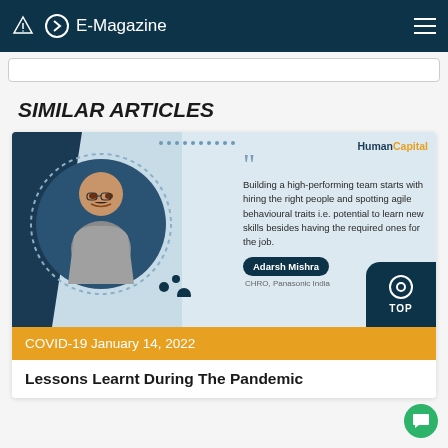E-Magazine
SIMILAR ARTICLES
[Figure (infographic): Article card with photo of Adarsh Mishra (CHRO, Panasonic India) and quote: Building a high-performing team starts with hiring the right people and spotting agile behavioural traits i.e. potential to learn new skills besides having the required ones for the job. HumanCapital magazine branding visible. TOP button in bottom right.]
COVID-19 January 14, 2022
Lessons Learnt During The Pandemic